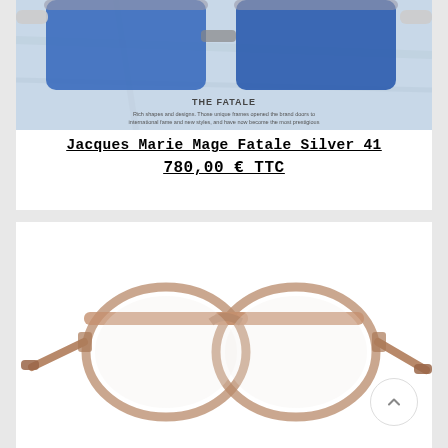[Figure (photo): Product photo of Jacques Marie Mage Fatale Silver 41 sunglasses with blue lenses on a marble surface]
Jacques Marie Mage Fatale Silver 41
780,00 € TTC
[Figure (photo): Product photo of brown/tan transparent aviator-style eyeglasses frame on white background]